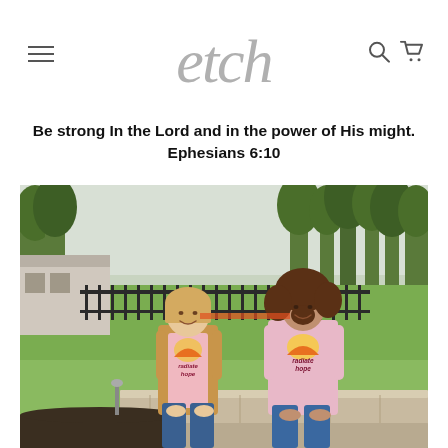etch — navigation header with hamburger menu, logo, search and cart icons
Be strong In the Lord and in the power of His might. Ephesians 6:10
[Figure (photo): Two women sitting outdoors on a stone ledge, both wearing pink 'radiate hope' graphic shirts with a rainbow sun design. One woman has short blonde hair and a tan cardigan; the other has curly dark hair and a long-sleeve pink shirt. They are smiling and looking at each other. Background shows green grass, trees, and a black iron fence.]